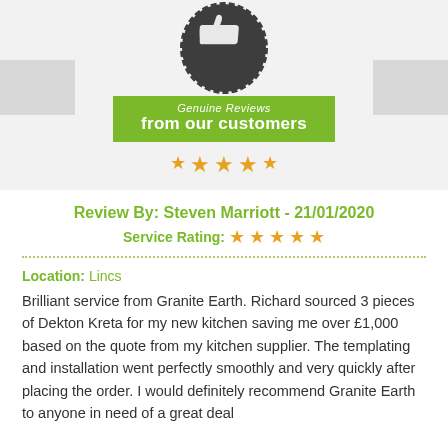[Figure (illustration): Dark silhouette of a thumbs-up icon above a green badge reading 'Genuine Reviews from our customers' with five gold stars below]
Review By: Steven Marriott - 21/01/2020
Service Rating: ★ ★ ★ ★ ★
Location: Lincs
Brilliant service from Granite Earth. Richard sourced 3 pieces of Dekton Kreta for my new kitchen saving me over £1,000 based on the quote from my kitchen supplier. The templating and installation went perfectly smoothly and very quickly after placing the order. I would definitely recommend Granite Earth to anyone in need of a great deal